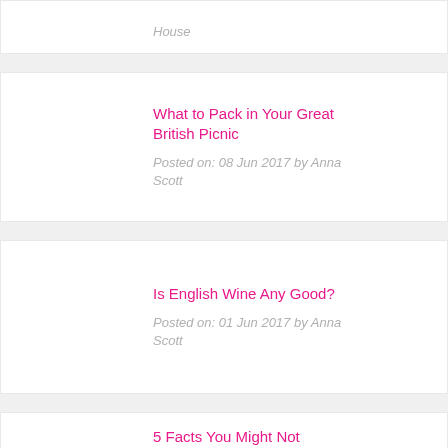House
What to Pack in Your Great British Picnic
Posted on: 08 Jun 2017 by Anna Scott
Is English Wine Any Good?
Posted on: 01 Jun 2017 by Anna Scott
5 Facts You Might Not